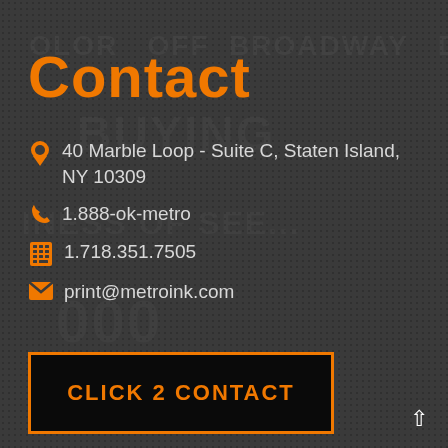Contact
40 Marble Loop - Suite C, Staten Island, NY 10309
1.888-ok-metro
1.718.351.7505
print@metroink.com
CLICK 2 CONTACT